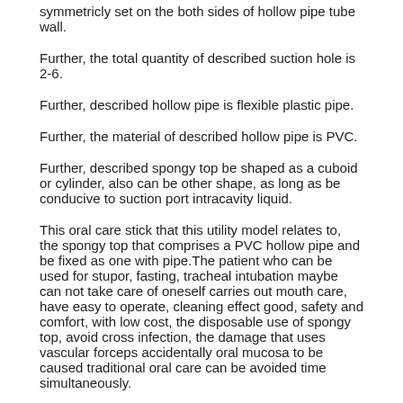symmetricly set on the both sides of hollow pipe tube wall.
Further, the total quantity of described suction hole is 2-6.
Further, described hollow pipe is flexible plastic pipe.
Further, the material of described hollow pipe is PVC.
Further, described spongy top be shaped as a cuboid or cylinder, also can be other shape, as long as be conducive to suction port intracavity liquid.
This oral care stick that this utility model relates to, the spongy top that comprises a PVC hollow pipe and be fixed as one with pipe.The patient who can be used for stupor, fasting, tracheal intubation maybe can not take care of oneself carries out mouth care, have easy to operate, cleaning effect good, safety and comfort, with low cost, the disposable use of spongy top, avoid cross infection, the damage that uses vascular forceps accidentally oral mucosa to be caused traditional oral care can be avoided time simultaneously.
Its principle is as follows: PVC hollow pipe joins without spongy top one end and vacuum extractor, and PVC hollow